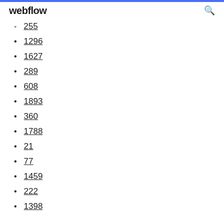webflow
255
1296
1627
289
608
1893
360
1788
21
77
1459
222
1398